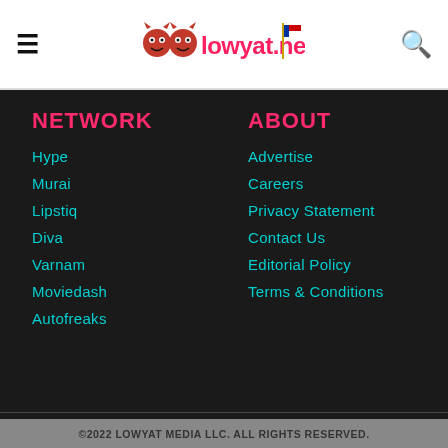lowyat.net
NETWORK
Hype
Murai
Lipstiq
Diva
Varnam
Moviedash
Autofreaks
ABOUT
Advertise
Careers
Privacy Statement
Contact Us
Editorial Policy
Terms & Conditions
©2022 LOWYAT MEDIA LLC. ALL RIGHTS RESERVED.
We use cookies to improve your experience. Learn More.